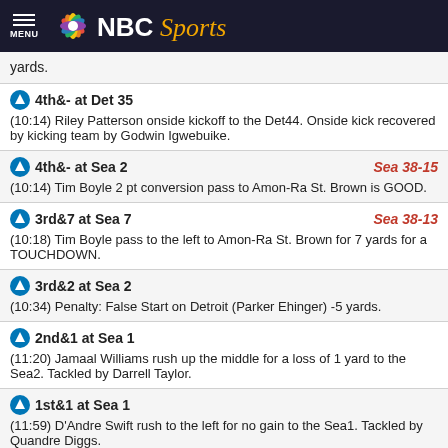NBC Sports
yards.
4th&- at Det 35
(10:14) Riley Patterson onside kickoff to the Det44. Onside kick recovered by kicking team by Godwin Igwebuike.
4th&- at Sea 2 Sea 38-15
(10:14) Tim Boyle 2 pt conversion pass to Amon-Ra St. Brown is GOOD.
3rd&7 at Sea 7 Sea 38-13
(10:18) Tim Boyle pass to the left to Amon-Ra St. Brown for 7 yards for a TOUCHDOWN.
3rd&2 at Sea 2
(10:34) Penalty: False Start on Detroit (Parker Ehinger) -5 yards.
2nd&1 at Sea 1
(11:20) Jamaal Williams rush up the middle for a loss of 1 yard to the Sea2. Tackled by Darrell Taylor.
1st&1 at Sea 1
(11:59) D'Andre Swift rush to the left for no gain to the Sea1. Tackled by Quandre Diggs.